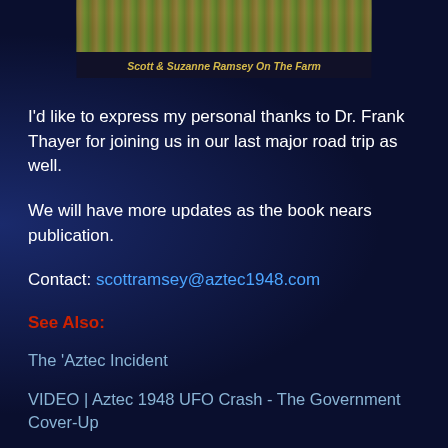[Figure (photo): Partial photo of a farm scene (grass/ground visible), cropped at top]
Scott & Suzanne Ramsey On The Farm
I'd like to express my personal thanks to Dr. Frank Thayer for joining us in our last major road trip as well.
We will have more updates as the book nears publication.
Contact: scottramsey@aztec1948.com
See Also:
The 'Aztec Incident
VIDEO | Aztec 1948 UFO Crash - The Government Cover-Up
Aztec UFO Crash of 1948 - The England Connection -
SHARE YOUR UFO EXPERIENCE